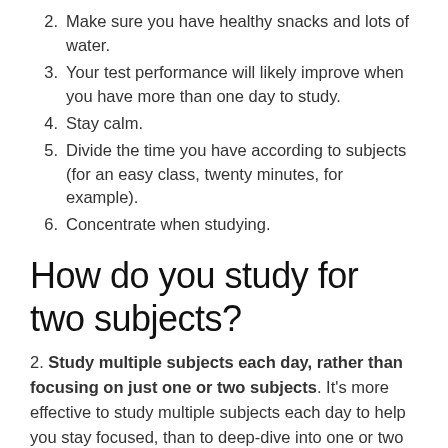2. Make sure you have healthy snacks and lots of water.
3. Your test performance will likely improve when you have more than one day to study.
4. Stay calm.
5. Divide the time you have according to subjects (for an easy class, twenty minutes, for example).
6. Concentrate when studying.
How do you study for two subjects?
2. Study multiple subjects each day, rather than focusing on just one or two subjects. It's more effective to study multiple subjects each day to help you stay focused, than to deep-dive into one or two subjects (Rohrer, D. 2012).